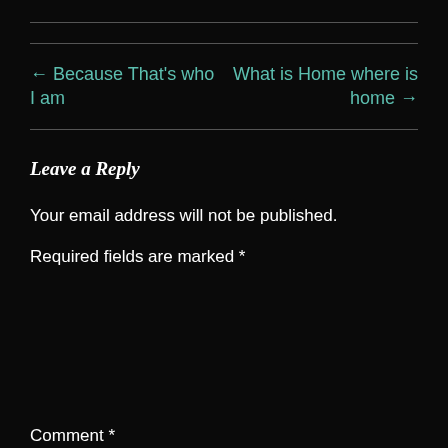← Because That's who I am
What is Home where is home →
Leave a Reply
Your email address will not be published.
Required fields are marked *
Comment *